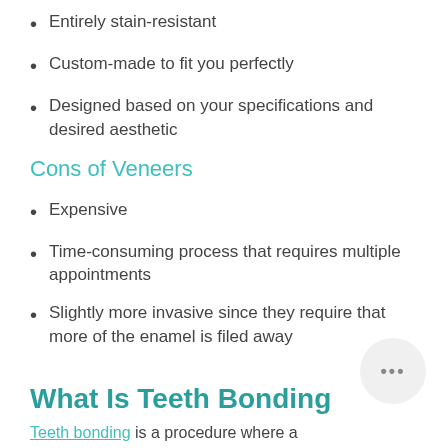Entirely stain-resistant
Custom-made to fit you perfectly
Designed based on your specifications and desired aesthetic
Cons of Veneers
Expensive
Time-consuming process that requires multiple appointments
Slightly more invasive since they require that more of the enamel is filed away
What Is Teeth Bonding
Teeth bonding is a procedure where a